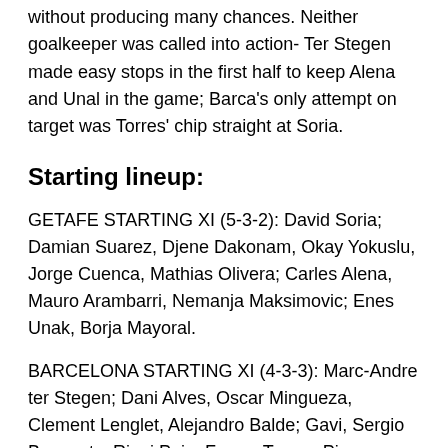Barcelona controlled possession throughout the game without producing many chances. Neither goalkeeper was called into action- Ter Stegen made easy stops in the first half to keep Alena and Unal in the game; Barca's only attempt on target was Torres' chip straight at Soria.
Starting lineup:
GETAFE STARTING XI (5-3-2): David Soria; Damian Suarez, Djene Dakonam, Okay Yokuslu, Jorge Cuenca, Mathias Olivera; Carles Alena, Mauro Arambarri, Nemanja Maksimovic; Enes Unak, Borja Mayoral.
BARCELONA STARTING XI (4-3-3): Marc-Andre ter Stegen; Dani Alves, Oscar Mingueza, Clement Lenglet, Alejandro Balde; Gavi, Sergio Busquets, Riqui Puig; Ferran Torres, Pierre-Emerick Aubameyang, Memphis Depay.